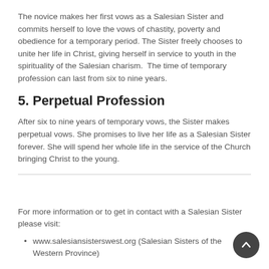The novice makes her first vows as a Salesian Sister and commits herself to love the vows of chastity, poverty and obedience for a temporary period. The Sister freely chooses to unite her life in Christ, giving herself in service to youth in the spirituality of the Salesian charism.  The time of temporary profession can last from six to nine years.
5. Perpetual Profession
After six to nine years of temporary vows, the Sister makes perpetual vows. She promises to live her life as a Salesian Sister forever. She will spend her whole life in the service of the Church bringing Christ to the young.
For more information or to get in contact with a Salesian Sister please visit:
www.salesiansisterswest.org (Salesian Sisters of the Western Province)